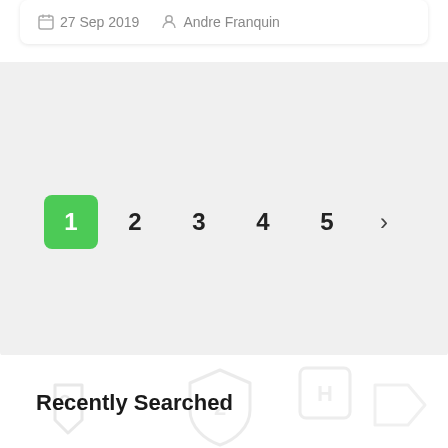27 Sep 2019  Andre Franquin
1  2  3  4  5  >
Recently Searched